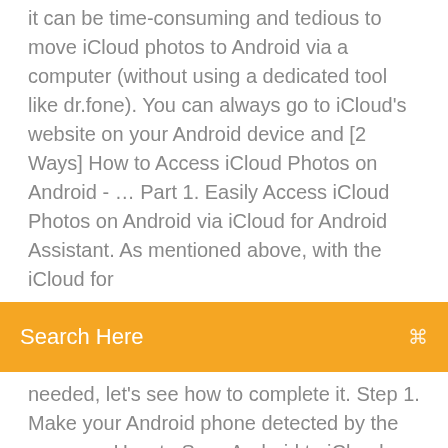it can be time-consuming and tedious to move iCloud photos to Android via a computer (without using a dedicated tool like dr.fone). You can always go to iCloud's website on your Android device and [2 Ways] How to Access iCloud Photos on Android - … Part 1. Easily Access iCloud Photos on Android via iCloud for Android Assistant. As mentioned above, with the iCloud for
[Figure (screenshot): Orange search bar with placeholder text 'Search Here' and a search icon on the right]
needed, let's see how to complete it. Step 1. Make your Android phone detected by the program. How to Sync Android to iCloud - MobiKin
Tom and jerry full hd movies in hindi free download
Showbox apk latest version 5.14 download firestick
Android audio editor pro apk free download
Youtube how to download minecraft for free on pc
Lego computer games free online
Gta 4 cheat code for police uniform xbox 360
Mtdroid...